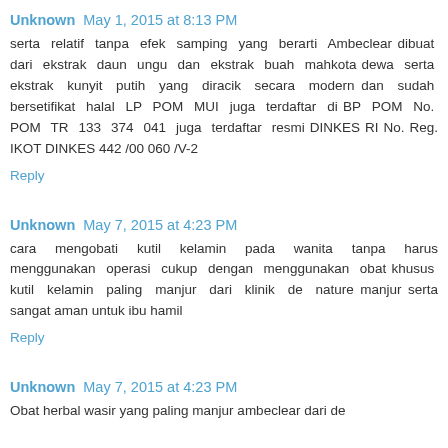Unknown May 1, 2015 at 8:13 PM
serta relatif tanpa efek samping yang berarti Ambeclear dibuat dari ekstrak daun ungu dan ekstrak buah mahkota dewa serta ekstrak kunyit putih yang diracik secara modern dan sudah bersetifikat halal LP POM MUI juga terdaftar di BP POM No. POM TR 133 374 041 juga terdaftar resmi DINKES RI No. Reg. IKOT DINKES 442 /00 060 /V-2
Reply
Unknown May 7, 2015 at 4:23 PM
cara mengobati kutil kelamin pada wanita tanpa harus menggunakan operasi cukup dengan menggunakan obat khusus kutil kelamin paling manjur dari klinik de nature manjur serta sangat aman untuk ibu hamil
Reply
Unknown May 7, 2015 at 4:23 PM
Obat herbal wasir yang paling manjur ambeclear dari de